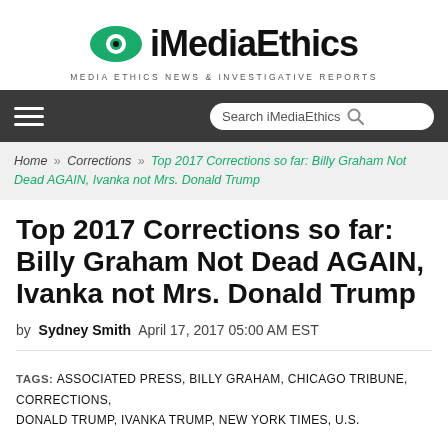[Figure (logo): iMediaEthics logo with green eye icon and tagline MEDIA ETHICS NEWS & INVESTIGATIVE REPORTS]
[Figure (screenshot): Navigation bar with hamburger menu and search box]
Home » Corrections » Top 2017 Corrections so far: Billy Graham Not Dead AGAIN, Ivanka not Mrs. Donald Trump
Top 2017 Corrections so far: Billy Graham Not Dead AGAIN, Ivanka not Mrs. Donald Trump
by Sydney Smith April 17, 2017 05:00 AM EST
TAGS: ASSOCIATED PRESS, BILLY GRAHAM, CHICAGO TRIBUNE, CORRECTIONS, DONALD TRUMP, IVANKA TRUMP, NEW YORK TIMES, U.S.